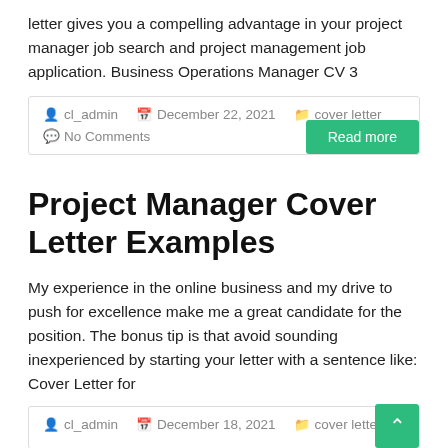letter gives you a compelling advantage in your project manager job search and project management job application. Business Operations Manager CV 3
cl_admin  December 22, 2021  cover letter  No Comments  Read more
Project Manager Cover Letter Examples
My experience in the online business and my drive to push for excellence make me a great candidate for the position. The bonus tip is that avoid sounding inexperienced by starting your letter with a sentence like: Cover Letter for
cl_admin  December 18, 2021  cover letter